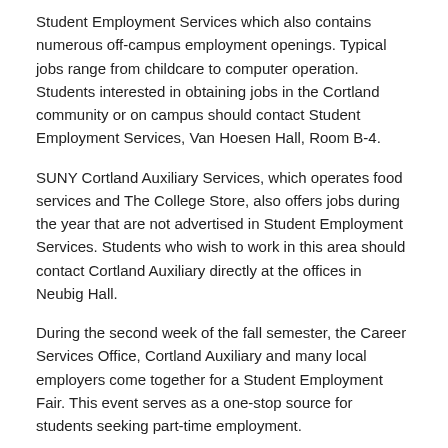Student Employment Services which also contains numerous off-campus employment openings. Typical jobs range from childcare to computer operation. Students interested in obtaining jobs in the Cortland community or on campus should contact Student Employment Services, Van Hoesen Hall, Room B-4.
SUNY Cortland Auxiliary Services, which operates food services and The College Store, also offers jobs during the year that are not advertised in Student Employment Services. Students who wish to work in this area should contact Cortland Auxiliary directly at the offices in Neubig Hall.
During the second week of the fall semester, the Career Services Office, Cortland Auxiliary and many local employers come together for a Student Employment Fair. This event serves as a one-stop source for students seeking part-time employment.
Satisfactory Standing for Financial Aid...